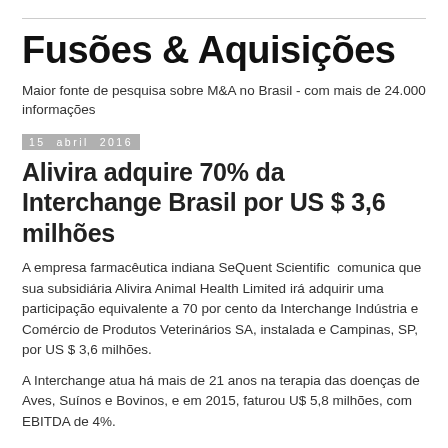Fusões & Aquisições
Maior fonte de pesquisa sobre M&A no Brasil - com mais de 24.000 informações
15 abril 2016
Alivira adquire 70% da Interchange Brasil por US $ 3,6 milhões
A empresa farmacêutica indiana SeQuent Scientific  comunica que sua subsidiária Alivira Animal Health Limited irá adquirir uma participação equivalente a 70 por cento da Interchange Indústria e Comércio de Produtos Veterinários SA, instalada e Campinas, SP, por US $ 3,6 milhões.
A Interchange atua há mais de 21 anos na terapia das doenças de Aves, Suínos e Bovinos, e em 2015, faturou U$ 5,8 milhões, com EBITDA de 4%.